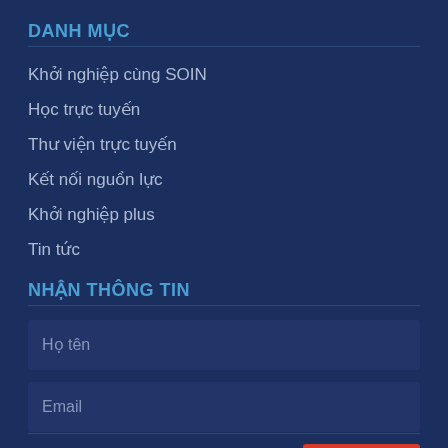DANH MỤC
Khởi nghiệp cùng SOIN
Học trực tuyến
Thư viện trực tuyến
Kết nối nguồn lực
Khởi nghiệp plus
Tin tức
NHẬN THÔNG TIN
Họ tên
Email
ĐĂNG KÝ